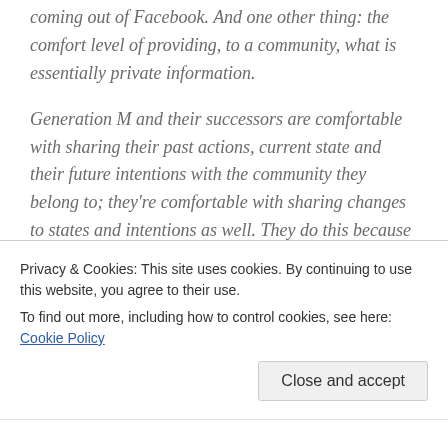coming out of Facebook. And one other thing: the comfort level of providing, to a community, what is essentially private information.

Generation M and their successors are comfortable with sharing their past actions, current state and their future intentions with the community they belong to; they're comfortable with sharing changes to states and intentions as well. They do this because they believe new value will emerge from that sharing. Collaborative, communal value,
Privacy & Cookies: This site uses cookies. By continuing to use this website, you agree to their use.
To find out more, including how to control cookies, see here: Cookie Policy